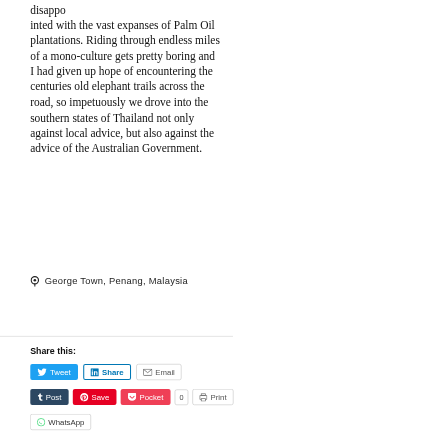disappo
inted with the vast expanses of Palm Oil plantations. Riding through endless miles of a mono-culture gets pretty boring and I had given up hope of encountering the centuries old elephant trails across the road, so impetuously we drove into the southern states of Thailand not only against local advice, but also against the advice of the Australian Government.
📍 George Town, Penang, Malaysia
Share this:
Tweet
Share
Email
Post
Save
Pocket 0
Print
WhatsApp